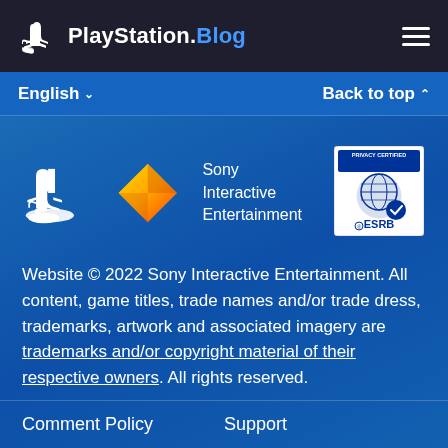PlayStation.Blog
English  Back to top
[Figure (logo): PlayStation logo (white), Sony Interactive Entertainment diamond/PS Plus style orange-yellow diamond logo with text 'Sony Interactive Entertainment', and ESRB Privacy Certified badge]
Website © 2022 Sony Interactive Entertainment. All content, game titles, trade names and/or trade dress, trademarks, artwork and associated imagery are trademarks and/or copyright material of their respective owners. All rights reserved.
Comment Policy    Support